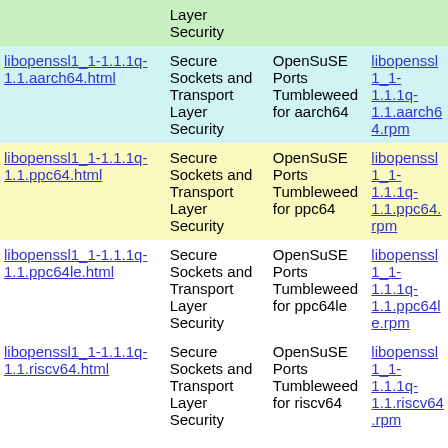| Package | Description | Repository | Download |
| --- | --- | --- | --- |
|  | Layer Security |  |  |
| libopenssl1_1-1.1.1q-1.1.aarch64.html | Secure Sockets and Transport Layer Security | OpenSuSE Ports Tumbleweed for aarch64 | libopenssl1_1-1.1.1q-1.1.aarch64.rpm |
| libopenssl1_1-1.1.1q-1.1.ppc64.html | Secure Sockets and Transport Layer Security | OpenSuSE Ports Tumbleweed for ppc64 | libopenssl1_1-1.1.1q-1.1.ppc64.rpm |
| libopenssl1_1-1.1.1q-1.1.ppc64le.html | Secure Sockets and Transport Layer Security | OpenSuSE Ports Tumbleweed for ppc64le | libopenssl1_1-1.1.1q-1.1.ppc64le.rpm |
| libopenssl1_1-1.1.1q-1.1.riscv64.html | Secure Sockets and Transport Layer Security | OpenSuSE Ports Tumbleweed for riscv64 | libopenssl1_1-1.1.1q-1.1.riscv64.rpm |